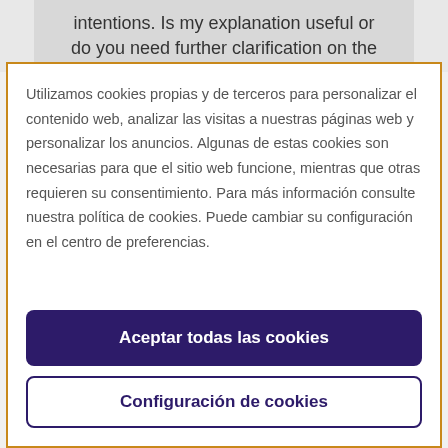intentions. Is my explanation useful or do you need further clarification on the
Utilizamos cookies propias y de terceros para personalizar el contenido web, analizar las visitas a nuestras páginas web y personalizar los anuncios. Algunas de estas cookies son necesarias para que el sitio web funcione, mientras que otras requieren su consentimiento. Para más información consulte nuestra política de cookies. Puede cambiar su configuración en el centro de preferencias.
Aceptar todas las cookies
Configuración de cookies